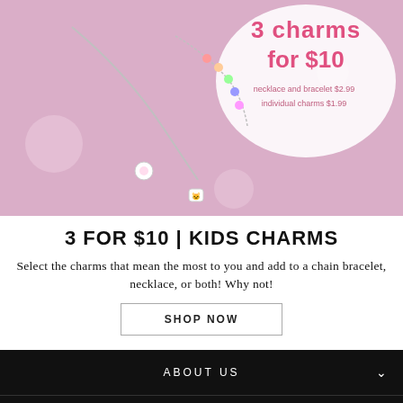[Figure (photo): Pink promotional banner showing charm necklace and bracelet jewelry on a pink background with text '3 charms for $10', necklace and bracelet $2.99, individual charms $1.99]
3 FOR $10 | KIDS CHARMS
Select the charms that mean the most to you and add to a chain bracelet, necklace, or both! Why not!
SHOP NOW
ABOUT US
ASK US
WHOLESALE